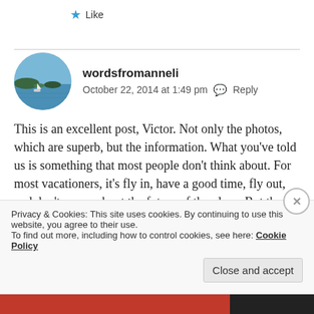★ Like
[Figure (photo): Circular avatar photo of a coastal landscape with water, small islands with trees, and a boat.]
wordsfromanneli
October 22, 2014 at 1:49 pm  💬 Reply
This is an excellent post, Victor. Not only the photos, which are superb, but the information. What you've told us is something that most people don't think about. For most vacationers, it's fly in, have a good time, fly out, and don't worry about the future of the place. But the
Privacy & Cookies: This site uses cookies. By continuing to use this website, you agree to their use.
To find out more, including how to control cookies, see here: Cookie Policy
Close and accept